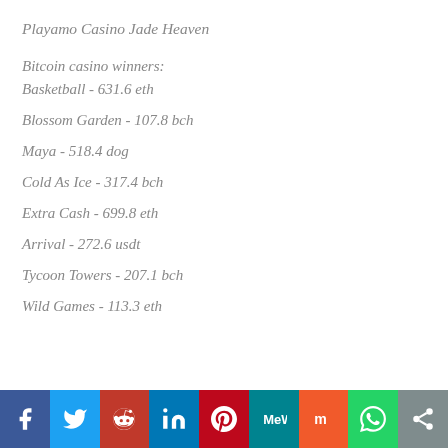Playamo Casino Jade Heaven
Bitcoin casino winners:
Basketball - 631.6 eth
Blossom Garden - 107.8 bch
Maya - 518.4 dog
Cold As Ice - 317.4 bch
Extra Cash - 699.8 eth
Arrival - 272.6 usdt
Tycoon Towers - 207.1 bch
Wild Games - 113.3 eth
[Figure (infographic): Social sharing bar with icons for Facebook, Twitter, Reddit, LinkedIn, Pinterest, MeWe, Mix, WhatsApp, Share]